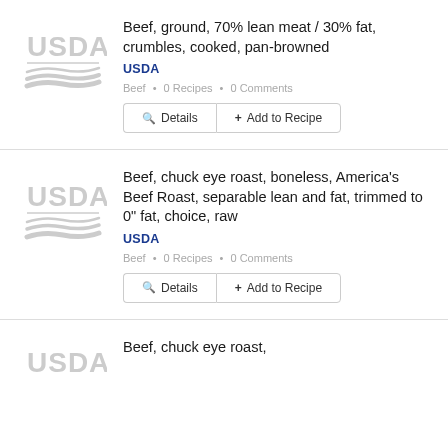[Figure (logo): USDA logo (gray) for first food entry]
Beef, ground, 70% lean meat / 30% fat, crumbles, cooked, pan-browned
USDA
Beef • 0 Recipes • 0 Comments
Details | + Add to Recipe
[Figure (logo): USDA logo (gray) for second food entry]
Beef, chuck eye roast, boneless, America's Beef Roast, separable lean and fat, trimmed to 0" fat, choice, raw
USDA
Beef • 0 Recipes • 0 Comments
Details | + Add to Recipe
[Figure (logo): USDA logo (gray) for third food entry, partially visible]
Beef, chuck eye roast,